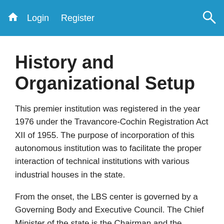Login  Register
History and Organizational Setup
This premier institution was registered in the year 1976 under the Travancore-Cochin Registration Act XII of 1955. The purpose of incorporation of this autonomous institution was to facilitate the proper interaction of technical institutions with various industrial houses in the state.
From the onset, the LBS center is governed by a Governing Body and Executive Council. The Chief Minister of the state is the Chairman and the Minister for Education is the Vice-chairman of its Governing Body. On the other hand, the Principle Secretary in charge of Higher Education is the Chairman and the Director of Technical